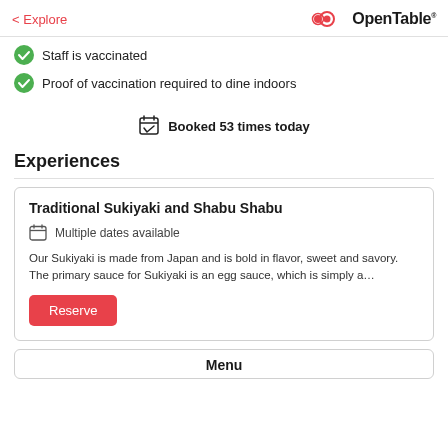< Explore  OpenTable
Staff is vaccinated
Proof of vaccination required to dine indoors
Booked 53 times today
Experiences
Traditional Sukiyaki and Shabu Shabu
Multiple dates available
Our Sukiyaki is made from Japan and is bold in flavor, sweet and savory. The primary sauce for Sukiyaki is an egg sauce, which is simply a…
Reserve
Menu